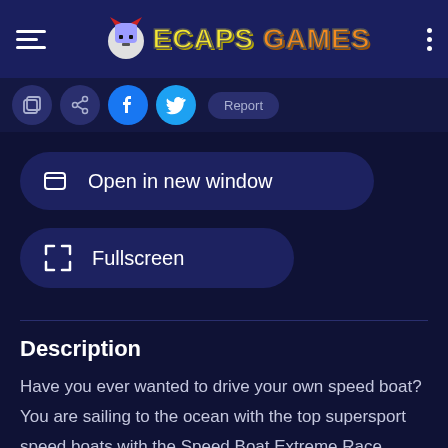ECAPS GAMES
[Figure (screenshot): Social share buttons row with facebook, twitter, and Report button]
Open in new window
Fullscreen
Description
Have you ever wanted to drive your own speed boat? You are sailing to the ocean with the top supersport speed boats with the Speed Boat Extreme Race game!